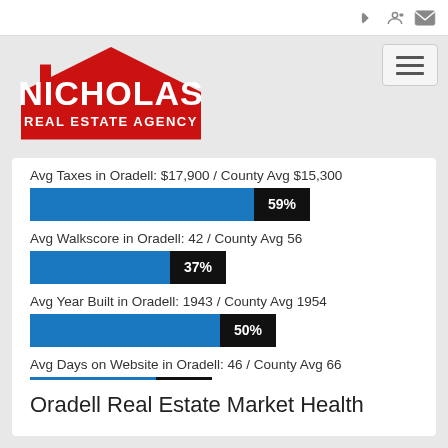[Figure (logo): Nicholas Real Estate Agency logo — red house shape with white text]
Avg Taxes in Oradell: $17,900 / County Avg $15,300
[Figure (bar-chart): Avg Taxes in Oradell]
Avg Walkscore in Oradell: 42 / County Avg 56
[Figure (bar-chart): Avg Walkscore in Oradell]
Avg Year Built in Oradell: 1943 / County Avg 1954
[Figure (bar-chart): Avg Year Built in Oradell]
Avg Days on Website in Oradell: 46 / County Avg 66
[Figure (bar-chart): Avg Days on Website in Oradell]
Oradell Real Estate Market Health